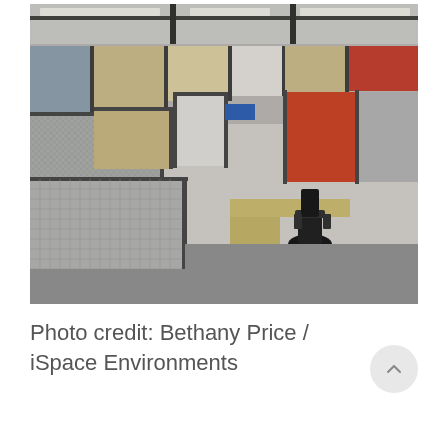[Figure (photo): Interior photo of an open office space with modular cubicles. The cubicles have aluminum frames with panels in neutral beige/tan, white, gray mesh, and accent panels in orange and blue. Black ergonomic office chairs are visible at L-shaped desks. Modern ceiling with fluorescent strip lighting. The photo is credited to Bethany Price / iSpace Environments.]
Photo credit: Bethany Price / iSpace Environments